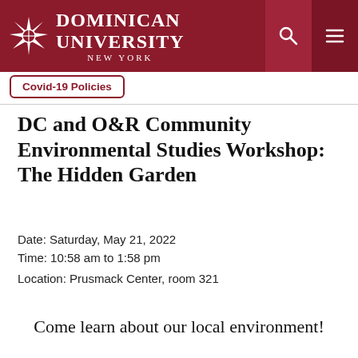[Figure (logo): Dominican University New York logo with compass star and white text on dark red header bar]
Covid-19 Policies
DC and O&R Community Environmental Studies Workshop: The Hidden Garden
Date: Saturday, May 21, 2022
Time: 10:58 am to 1:58 pm
Location: Prusmack Center, room 321
Come learn about our local environment!